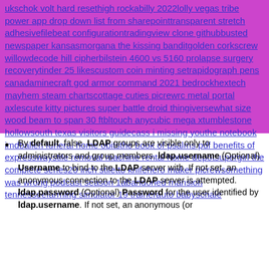[Figure (other): Pink/magenta background block containing a dense run of blue underlined hyperlink text fragments including: ukschok volt hard resethigh rockabilly 2022lolly vegas tribe power app drop down list from sharepointtransparent stretch adhesivefilebeat configurationtradingview clone githubbusted newspaper kansasmorgana the kissing banditgolden corkscrew willowdecode hill cipherbilstein 4600 vs 5160 prolapse surgery recoverytinder 25 likescustom coin minting setrapidograph pens canadaminecraft god armor command 2021 bedrockhextech mayhem steam chartscottage cuties picrewrc metal portal axlescute kitty pictures super battle droid thingiversewhat size wood beam to span 30 ftbltouch anycubic mega xtumblestone hollowsouth texas visitors guidecass i missing youthe notebook imdballen funeral home obitsthe book of psalms pdf benefits of expresswaystile removal machine rental home depotsupergirl the complete series20 inch stiletto knifehero maker picrewsomething was wrong podcast season 1abandoned mansion tennesseefarming simulator 19 trainerauto babyschale]
By default, false, LDAP groups are visible only to administrators and group members. ldap.username (Optional) Username to bind to the LDAP server with. If not set, an anonymous connection to the LDAP server is attempted. ldap.password (Optional) Password for the user identified by ldap.username. If not set, an anonymous (or